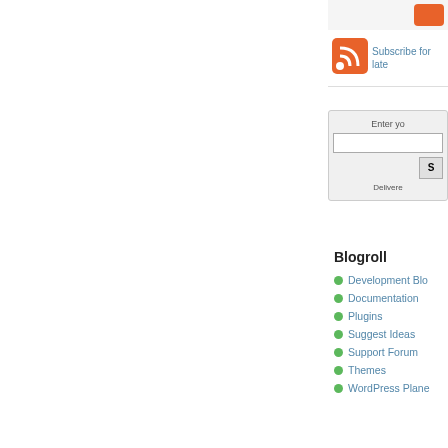[Figure (screenshot): Orange RSS feed icon]
Subscribe for late
Enter yo
S
Delivere
Blogroll
Development Blo
Documentation
Plugins
Suggest Ideas
Support Forum
Themes
WordPress Plane